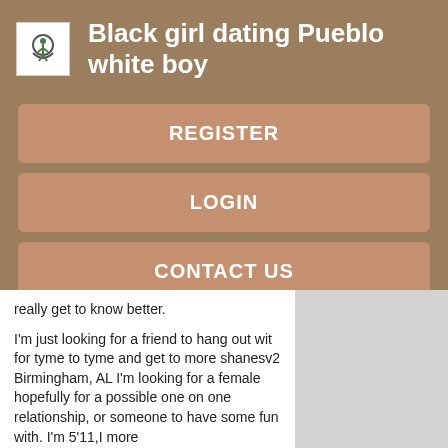Black girl dating Pueblo white boy
REGISTER
LOGIN
CONTACT US
really get to know better.

I'm just looking for a friend to hang out wit for tyme to tyme and get to more shanesv2 Birmingham, AL I'm looking for a female hopefully for a possible one on one relationship, or someone to have some fun with. I'm 5'11,I more